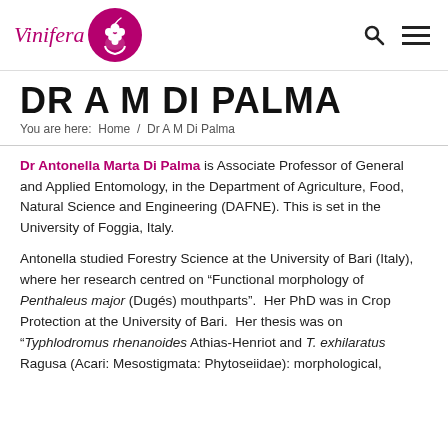Vinifera [logo with grape icon]
DR A M DI PALMA
You are here:  Home  /  Dr A M Di Palma
Dr Antonella Marta Di Palma is Associate Professor of General and Applied Entomology, in the Department of Agriculture, Food, Natural Science and Engineering (DAFNE). This is set in the University of Foggia, Italy.
Antonella studied Forestry Science at the University of Bari (Italy), where her research centred on “Functional morphology of Penthaleus major (Dugés) mouthparts”.  Her PhD was in Crop Protection at the University of Bari.  Her thesis was on “Typhlodromus rhenanoides Athias-Henriot and T. exhilaratus Ragusa (Acari: Mesostigmata: Phytoseiidae): morphological,